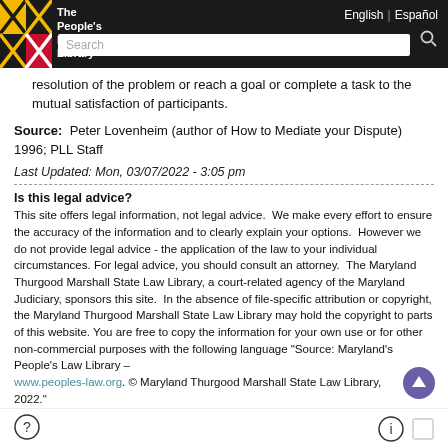The People's Law Library | English | Español
resolution of the problem or reach a goal or complete a task to the mutual satisfaction of participants.
Source: Peter Lovenheim (author of How to Mediate your Dispute) 1996; PLL Staff
Last Updated: Mon, 03/07/2022 - 3:05 pm
Is this legal advice?
This site offers legal information, not legal advice. We make every effort to ensure the accuracy of the information and to clearly explain your options. However we do not provide legal advice - the application of the law to your individual circumstances. For legal advice, you should consult an attorney. The Maryland Thurgood Marshall State Law Library, a court-related agency of the Maryland Judiciary, sponsors this site. In the absence of file-specific attribution or copyright, the Maryland Thurgood Marshall State Law Library may hold the copyright to parts of this website. You are free to copy the information for your own use or for other non-commercial purposes with the following language "Source: Maryland's People's Law Library – www.peoples-law.org. © Maryland Thurgood Marshall State Law Library, 2022."